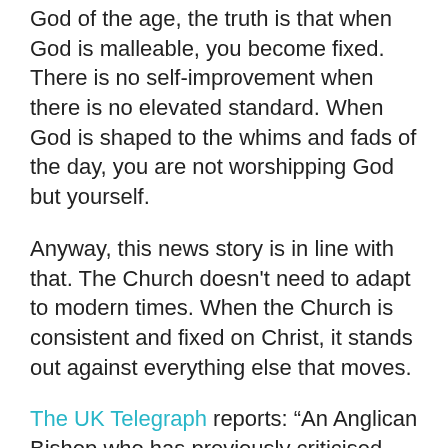God of the age, the truth is that when God is malleable, you become fixed. There is no self-improvement when there is no elevated standard. When God is shaped to the whims and fads of the day, you are not worshipping God but yourself.
Anyway, this news story is in line with that. The Church doesn't need to adapt to modern times. When the Church is consistent and fixed on Christ, it stands out against everything else that moves.
The UK Telegraph reports: “An Anglican Bishop who has previously criticised the direction of the Church of England has converted to Catholicism
Bishop Dr Michael Nazir-Ali, who was Bishop of Rochester from 1994 until 2009, confirmed suspicions earlier this morning, telling The Telegraph that he had been considering the move